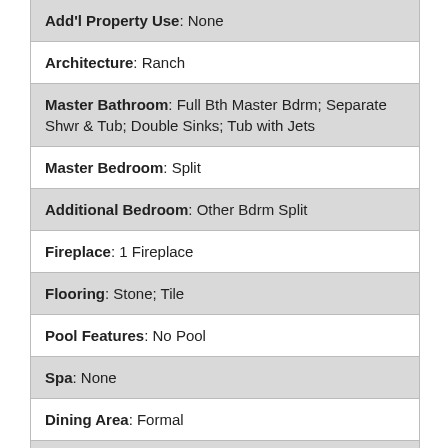Add'l Property Use: None
Architecture: Ranch
Master Bathroom: Full Bth Master Bdrm; Separate Shwr & Tub; Double Sinks; Tub with Jets
Master Bedroom: Split
Additional Bedroom: Other Bdrm Split
Fireplace: 1 Fireplace
Flooring: Stone; Tile
Pool Features: No Pool
Spa: None
Dining Area: Formal
Kitchen Features: Range/Oven Gas; Disposal; Dishwasher; Refrigerator
Laundry: Wshr/Dry HookUp Only; Inside